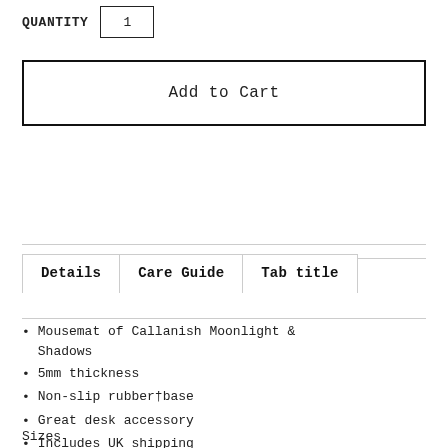QUANTITY   1
Add to Cart
Details   Care Guide   Tab title
Mousemat of Callanish Moonlight & Shadows
5mm thickness
Non-slip rubber base
Great desk accessory
Includes UK shipping
Sizes